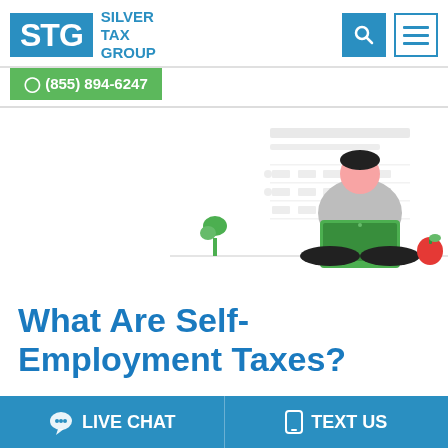[Figure (logo): Silver Tax Group logo with blue STG letters on blue background and company name in blue text]
(855) 894-6247
[Figure (illustration): Person sitting cross-legged working on a green laptop with small plant and apple nearby, with document/table graphic in upper right background]
What Are Self-Employment Taxes?
LIVE CHAT
TEXT US